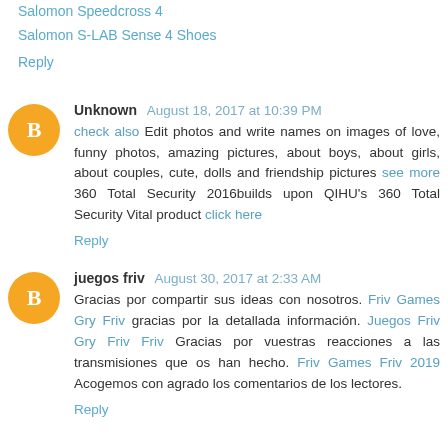Salomon Speedcross 4
Salomon S-LAB Sense 4 Shoes
Reply
Unknown  August 18, 2017 at 10:39 PM
check also Edit photos and write names on images of love, funny photos, amazing pictures, about boys, about girls, about couples, cute, dolls and friendship pictures see more 360 Total Security 2016builds upon QIHU's 360 Total Security Vital product click here
Reply
juegos friv  August 30, 2017 at 2:33 AM
Gracias por compartir sus ideas con nosotros. Friv Games Gry Friv gracias por la detallada información. Juegos Friv Gry Friv Friv Gracias por vuestras reacciones a las transmisiones que os han hecho. Friv Games Friv 2019 Acogemos con agrado los comentarios de los lectores.
Reply